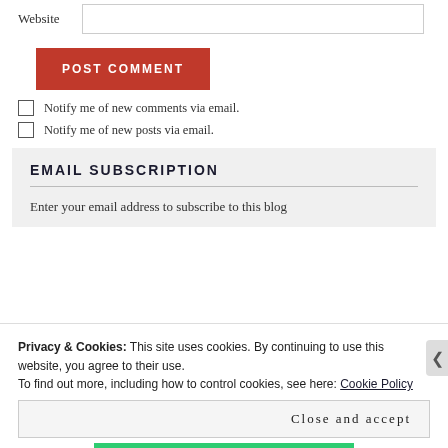Website
POST COMMENT
Notify me of new comments via email.
Notify me of new posts via email.
EMAIL SUBSCRIPTION
Enter your email address to subscribe to this blog
Privacy & Cookies: This site uses cookies. By continuing to use this website, you agree to their use.
To find out more, including how to control cookies, see here: Cookie Policy
Close and accept